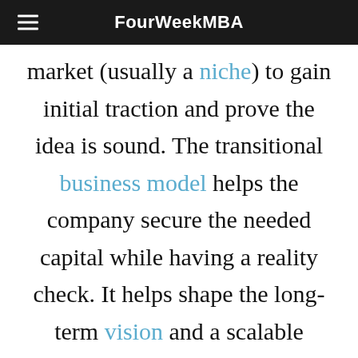FourWeekMBA
market (usually a niche) to gain initial traction and prove the idea is sound. The transitional business model helps the company secure the needed capital while having a reality check. It helps shape the long-term vision and a scalable business model.